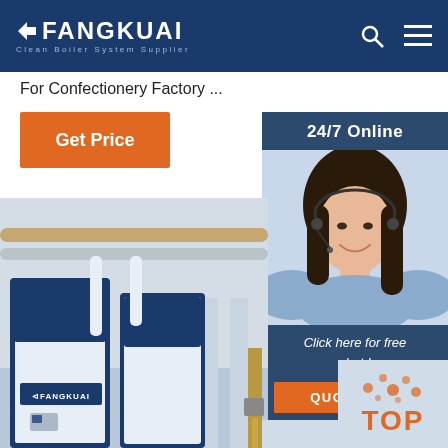FANGKUAI Clean Boiler System Supplier
For Confectionery Factory ...
Get Price
[Figure (photo): Customer service representative smiling with headset, sidebar panel with 24/7 Online label, Click here for free chat text, and QUOTATION orange button]
[Figure (photo): Fangkuai industrial boiler equipment installed in factory, showing blue and white boiler units with piping]
[Figure (other): TOP scroll-to-top button with orange dots decoration in bottom right corner]